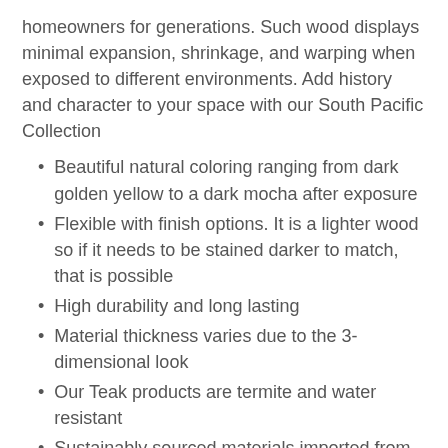homeowners for generations. Such wood displays minimal expansion, shrinkage, and warping when exposed to different environments. Add history and character to your space with our South Pacific Collection
Beautiful natural coloring ranging from dark golden yellow to a dark mocha after exposure
Flexible with finish options. It is a lighter wood so if it needs to be stained darker to match, that is possible
High durability and long lasting
Material thickness varies due to the 3-dimensional look
Our Teak products are termite and water resistant
Sustainably sourced materials imported from the South Pacific
Can be installed on many surfaces such as